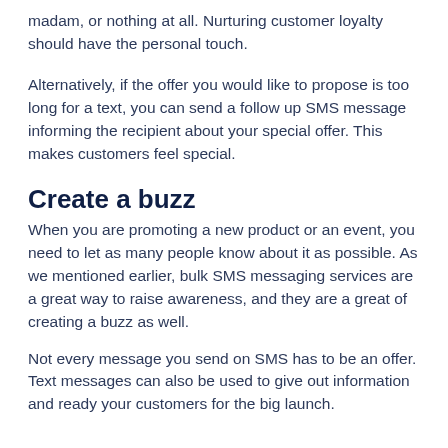madam, or nothing at all. Nurturing customer loyalty should have the personal touch.
Alternatively, if the offer you would like to propose is too long for a text, you can send a follow up SMS message informing the recipient about your special offer. This makes customers feel special.
Create a buzz
When you are promoting a new product or an event, you need to let as many people know about it as possible. As we mentioned earlier, bulk SMS messaging services are a great way to raise awareness, and they are a great of creating a buzz as well.
Not every message you send on SMS has to be an offer. Text messages can also be used to give out information and ready your customers for the big launch.